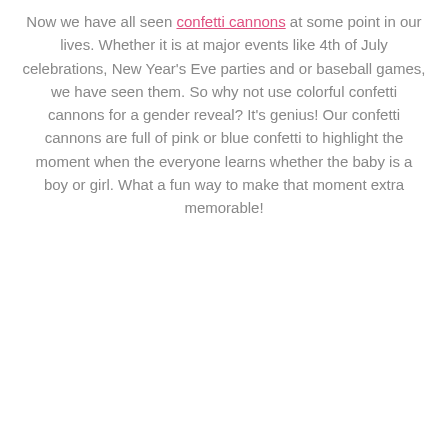Now we have all seen confetti cannons at some point in our lives. Whether it is at major events like 4th of July celebrations, New Year's Eve parties and or baseball games, we have seen them. So why not use colorful confetti cannons for a gender reveal? It's genius! Our confetti cannons are full of pink or blue confetti to highlight the moment when the everyone learns whether the baby is a boy or girl. What a fun way to make that moment extra memorable!